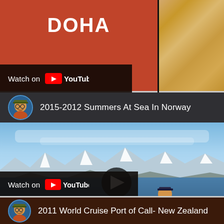[Figure (screenshot): Top of YouTube video card showing 'DOHA' text in red/salmon thumbnail with YouTube Watch on button overlay, and sand texture on right side]
[Figure (screenshot): YouTube video card for '2015-2012 Summers At Sea In Norway' showing a man in a red jacket standing on snowy ground in Varnik Norway with mountains and fjord in background, 'Varnik, Norway' text overlay, large red 'NORWAY' text on blue banner, and Watch on YouTube button]
[Figure (screenshot): Partially visible YouTube video card for '2011 World Cruise Port of Call- New Zealand']